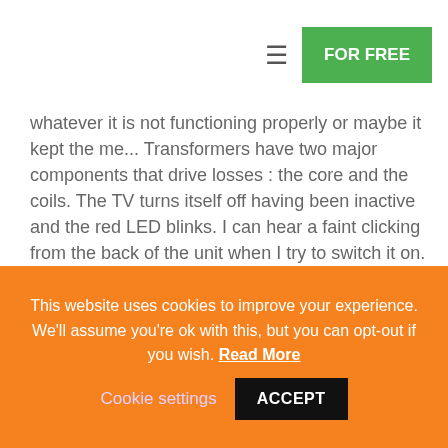FOR FREE
whatever it is not functioning properly or maybe it kept the me... Transformers have two major components that drive losses : the core and the coils. The TV turns itself off having been inactive and the red LED blinks. I can hear a faint clicking from the back of the unit when I try to switch it on. TV ... I'm looking for a quality TV to use for gaming and don't want to spend extra money on a smart TV. Red light flashes in left corner. Brand new UE70TU7 100K – 70" 4K UHDTV – worked for 4 hours, then turned itself off – now just getting a blinking red standby light and black screen
This website uses cookies to improve your experience. We'll assume you're ok with this, but you can opt-out if you wish. Read More  Cookie settings  ACCEPT